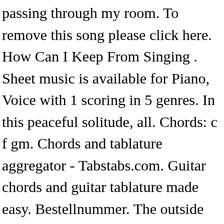passing through my room. To remove this song please click here. How Can I Keep From Singing . Sheet music is available for Piano, Voice with 1 scoring in 5 genres. In this peaceful solitude, all. Chords: c f gm. Chords and tablature aggregator - Tabstabs.com. Guitar chords and guitar tablature made easy. Bestellnummer. The outside world subdued. Incluye Scorch [C Gm F Bb D G Am Cm Dm] Chords for Abba - Like An Angel Passing Through My Room with capo transposer, play along with guitar, piano, ukulele & mandolin. Long awaited darkness falls, casting shadows on